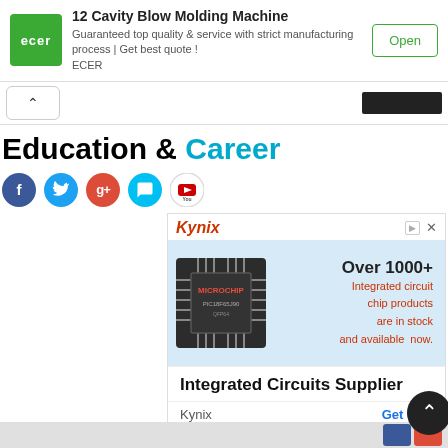[Figure (screenshot): ECER advertisement banner for 12 Cavity Blow Molding Machine with green logo, description text, and Open button]
12 Cavity Blow Molding Machine
Guaranteed top quality & service with strict manufacturing process | Get best quote ! ECER
Education & Career
[Figure (screenshot): Social media icons: Facebook, Twitter, Google+, Message, YouTube]
[Figure (screenshot): Kynix advertisement: Over 1000+ Integrated circuit chip products are in stock and available now. Integrated Circuits Supplier. Kynix - Get Quote.]